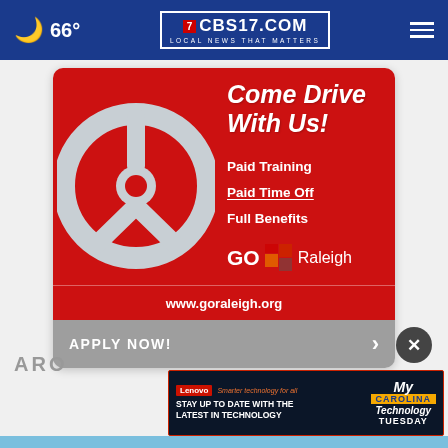🌙 66° | CBS17.COM LOCAL NEWS THAT MATTERS
[Figure (advertisement): GO Raleigh transit advertisement on red background featuring a steering wheel graphic. Text reads: Come Drive With Us! Paid Training, Paid Time Off, Full Benefits. GO Raleigh logo. www.goraleigh.org. APPLY NOW! button at bottom.]
ARO
[Figure (advertisement): Lenovo banner ad: Lenovo - Smarter technology for all. STAY UP TO DATE WITH THE LATEST IN TECHNOLOGY. My CAROLINA | Technology TUESDAY]